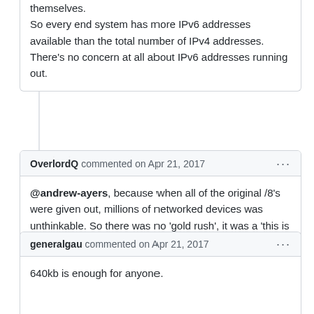themselves.
So every end system has more IPv6 addresses available than the total number of IPv4 addresses. There's no concern at all about IPv6 addresses running out.
OverlordQ commented on Apr 21, 2017 ··· @andrew-ayers, because when all of the original /8's were given out, millions of networked devices was unthinkable. So there was no 'gold rush', it was a 'this is more than anyone could ever need'
generalgau commented on Apr 21, 2017 ··· 640kb is enough for anyone.